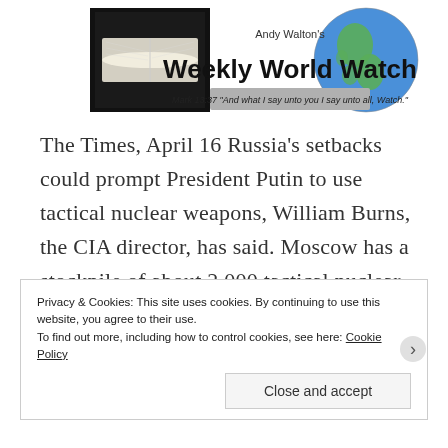[Figure (logo): Andy Walton's Weekly World Watch banner header with open Bible image on left, globe on right, title text center, and scripture quote Mark 13:37]
The Times, April 16 Russia's setbacks could prompt President Putin to use tactical nuclear weapons, William Burns, the CIA director, has said. Moscow has a stockpile of about 2,000 tactical nuclear weapons, also known as low-yield or battlefield munitions, that can be deployed by air, sea or artillery. These are
Privacy & Cookies: This site uses cookies. By continuing to use this website, you agree to their use.
To find out more, including how to control cookies, see here: Cookie Policy

Close and accept